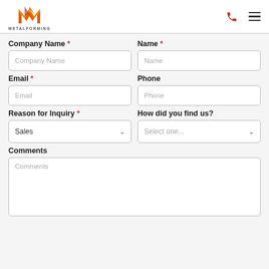[Figure (logo): MetalForming logo with stylized orange/red M icon and METALFORMING text below]
Company Name *
Name *
Email *
Phone
Reason for Inquiry *
How did you find us?
Comments